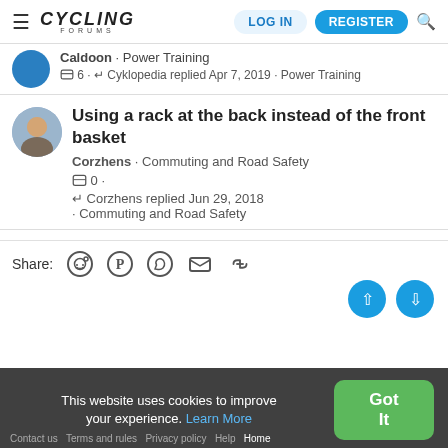Cycling Forums — LOG IN | REGISTER
Caldoon · Power Training
💬 6 · ↩ Cyklopedia replied Apr 7, 2019 · Power Training
Using a rack at the back instead of the front basket
Corzhens · Commuting and Road Safety
💬 0 ·
↩ Corzhens replied Jun 29, 2018 · Commuting and Road Safety
Share:
This website uses cookies to improve your experience. Learn More
Contact us   Terms and rules   Privacy policy   Help   Home